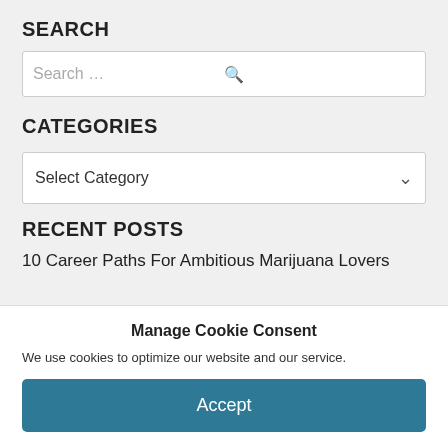SEARCH
[Figure (screenshot): Search input box with placeholder text 'Search …' and a magnifying glass icon on the right]
CATEGORIES
[Figure (screenshot): Dropdown select box labeled 'Select Category' with a chevron/arrow on the right]
RECENT POSTS
10 Career Paths For Ambitious Marijuana Lovers
Manage Cookie Consent
We use cookies to optimize our website and our service.
Accept